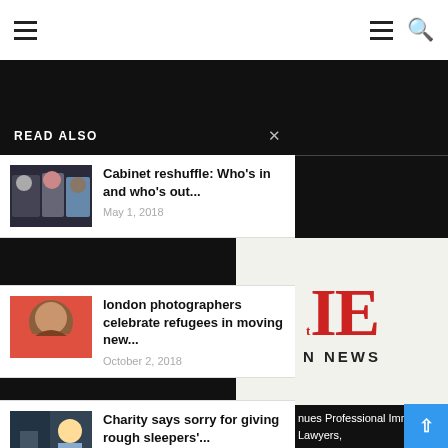≡   ≡ 🔍
READ ALSO
Cabinet reshuffle: Who's in and who's out...
May 1, 2018
london photographers celebrate refugees in moving new...
October 2, 2018
Charity says sorry for giving rough sleepers'...
[Figure (logo): IE N NEWS logo with red IE letters]
nues Professional Immigration Lawyers, Departments, International ernational Students in